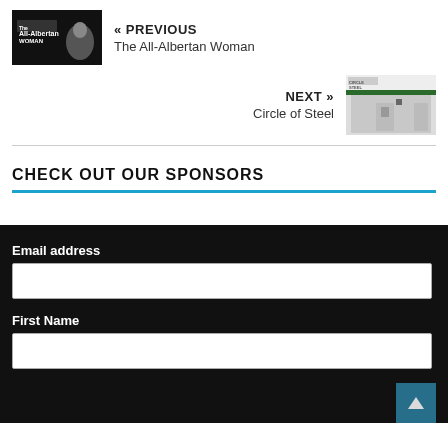[Figure (photo): Thumbnail image for 'The All-Albertan Woman' — dark background with woman silhouette and text overlay]
« PREVIOUS
The All-Albertan Woman
NEXT »
Circle of Steel
[Figure (photo): Thumbnail image for 'Circle of Steel' — outdoor scene, building exterior]
CHECK OUT OUR SPONSORS
Email address
First Name